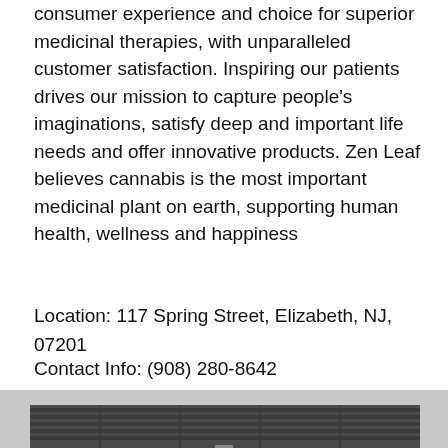consumer experience and choice for superior medicinal therapies, with unparalleled customer satisfaction. Inspiring our patients drives our mission to capture people's imaginations, satisfy deep and important life needs and offer innovative products. Zen Leaf believes cannabis is the most important medicinal plant on earth, supporting human health, wellness and happiness
Location: 117 Spring Street, Elizabeth, NJ, 07201
Contact Info: (908) 280-8642
Hours: Monday - Friday 10am-7pm, Saturday & Sunday 10am-5pm
[Figure (photo): Storefront exterior with dark horizontal panel siding, bottom portion of a commercial building facade.]